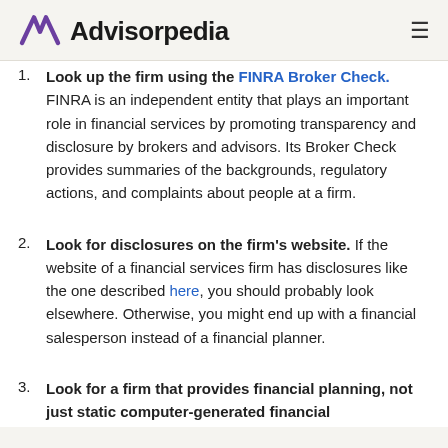Advisorpedia
1. Look up the firm using the FINRA Broker Check. FINRA is an independent entity that plays an important role in financial services by promoting transparency and disclosure by brokers and advisors. Its Broker Check provides summaries of the backgrounds, regulatory actions, and complaints about people at a firm.
2. Look for disclosures on the firm's website. If the website of a financial services firm has disclosures like the one described here, you should probably look elsewhere. Otherwise, you might end up with a financial salesperson instead of a financial planner.
3. Look for a firm that provides financial planning, not just static computer-generated financial